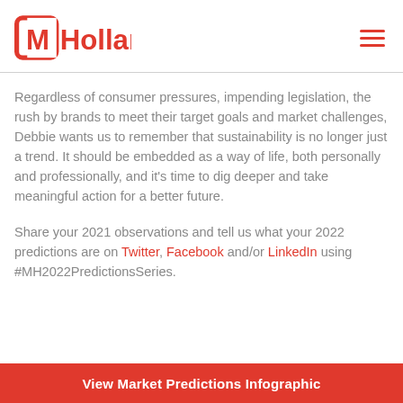MHolland
Regardless of consumer pressures, impending legislation, the rush by brands to meet their target goals and market challenges, Debbie wants us to remember that sustainability is no longer just a trend. It should be embedded as a way of life, both personally and professionally, and it's time to dig deeper and take meaningful action for a better future.
Share your 2021 observations and tell us what your 2022 predictions are on Twitter, Facebook and/or LinkedIn using #MH2022PredictionsSeries.
[Figure (other): Red CTA banner at the bottom reading 'View Market Predictions Infographic']